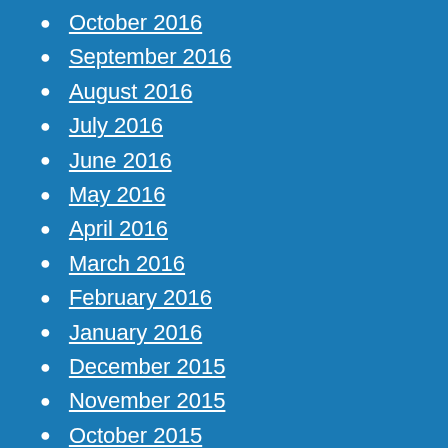October 2016
September 2016
August 2016
July 2016
June 2016
May 2016
April 2016
March 2016
February 2016
January 2016
December 2015
November 2015
October 2015
September 2015
August 2015
July 2015
June 2015